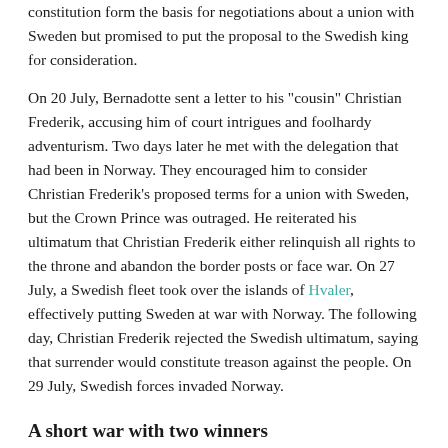constitution form the basis for negotiations about a union with Sweden but promised to put the proposal to the Swedish king for consideration.
On 20 July, Bernadotte sent a letter to his "cousin" Christian Frederik, accusing him of court intrigues and foolhardy adventurism. Two days later he met with the delegation that had been in Norway. They encouraged him to consider Christian Frederik's proposed terms for a union with Sweden, but the Crown Prince was outraged. He reiterated his ultimatum that Christian Frederik either relinquish all rights to the throne and abandon the border posts or face war. On 27 July, a Swedish fleet took over the islands of Hvaler, effectively putting Sweden at war with Norway. The following day, Christian Frederik rejected the Swedish ultimatum, saying that surrender would constitute treason against the people. On 29 July, Swedish forces invaded Norway.
A short war with two winners
Main article: Swedish-Norwegian War (1814)
Swedish forces met little resistance as they advanced northward into Norway, bypassing the fortress of Fredriksten. The first hostilities…